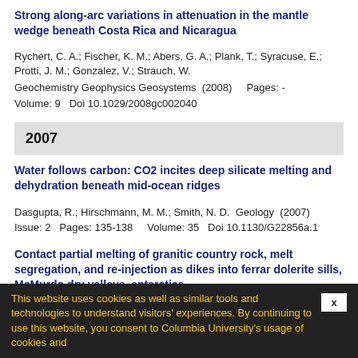Strong along-arc variations in attenuation in the mantle wedge beneath Costa Rica and Nicaragua
Rychert, C. A.; Fischer, K. M.; Abers, G. A.; Plank, T.; Syracuse, E.; Protti, J. M.; Gonzalez, V.; Strauch, W.
Geochemistry Geophysics Geosystems  (2008)    Pages: -  Volume: 9  Doi 10.1029/2008gc002040
2007
Water follows carbon: CO2 incites deep silicate melting and dehydration beneath mid-ocean ridges
Dasgupta, R.; Hirschmann, M. M.; Smith, N. D.  Geology  (2007)  Issue: 2  Pages: 135-138    Volume: 35  Doi 10.1130/G22856a.1
Contact partial melting of granitic country rock, melt segregation, and re-injection as dikes into ferrar dolerite sills, McMurdo dry valleys, antarctica
Hersum, T. G.; Marsh, B. D.; Simon, A. C.  Journal of Petrology  (2007)  Issue: 11  Pages: 2125-2148    Volume: 48  Doi 10.1093/petrology/egm054
This website uses cookies as well as similar tools and technologies to understand visitors' experiences. By continuing to use this website, you consent to Columbia University's usage of cookies and